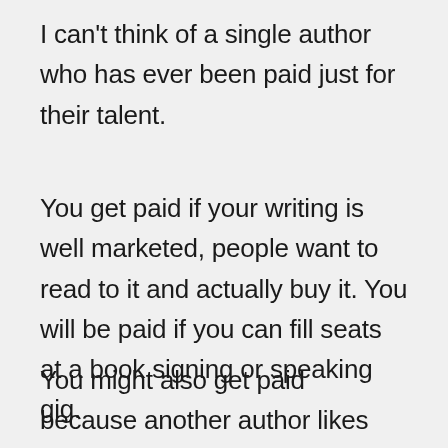I can't think of a single author who has ever been paid just for their talent.
You get paid if your writing is well marketed, people want to read to it and actually buy it. You will be paid if you can fill seats at a book signing or speaking gig.
You might also get paid because another author likes your writing enough to want to co-author a book